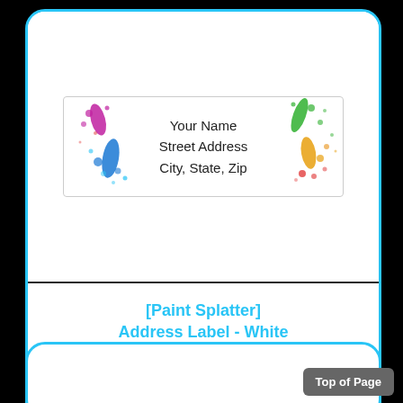[Figure (illustration): Paint Splatter address label sample showing 'Your Name / Street Address / City, State, Zip' text with colorful paint splatters on left and right sides of the white label]
[Paint Splatter] Address Label - White
Standard .75 x 2.25" size
30 labels per sheet
Sold in packs of 5 sheets
Top of Page